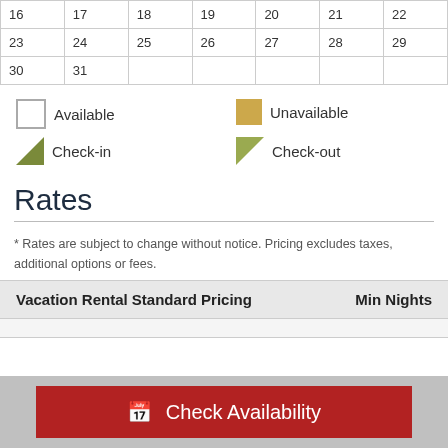| 16 | 17 | 18 | 19 | 20 | 21 | 22 |
| 23 | 24 | 25 | 26 | 27 | 28 | 29 |
| 30 | 31 |  |  |  |  |  |
Available
Unavailable
Check-in
Check-out
Rates
* Rates are subject to change without notice. Pricing excludes taxes, additional options or fees.
| Vacation Rental Standard Pricing | Min Nights |
| --- | --- |
Check Availability